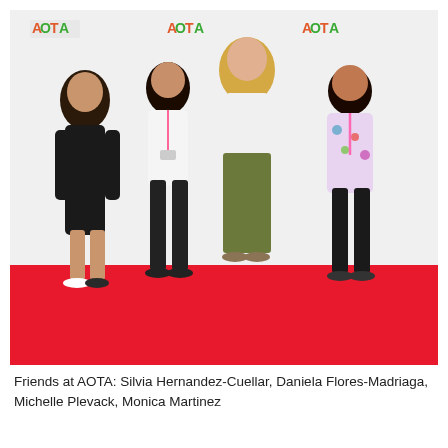[Figure (photo): Four women posing together on a red carpet in front of an AOTA (American Occupational Therapy Association) branded step-and-repeat backdrop. From left: a woman in a black dress with long dark hair, a woman in a white blouse with a conference lanyard, a taller woman in a white turtleneck and olive skirt, and a woman in a floral jacket with a pink lanyard.]
Friends at AOTA: Silvia Hernandez-Cuellar, Daniela Flores-Madriaga, Michelle Plevack, Monica Martinez